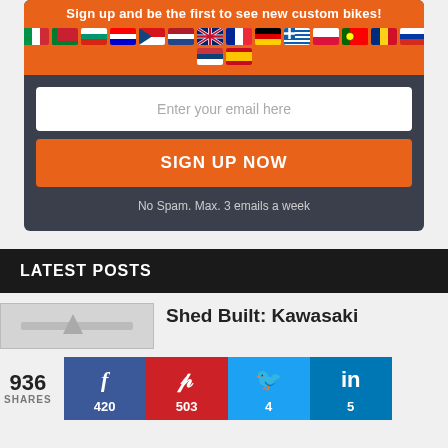Sign up and be the first to see new custom bikes!
[Figure (illustration): Row of country flag icons for European countries, plus a second row with two more flags (Serbia, Spain)]
Enter your email here
SIGN UP NOW
No Spam. Max. 3 emails a week
LATEST POSTS
[Figure (photo): Thumbnail image of a motorcycle (Kawasaki shed built)]
Shed Built: Kawasaki
936 SHARES
Facebook 420, Pinterest 503, Twitter 4, LinkedIn 5